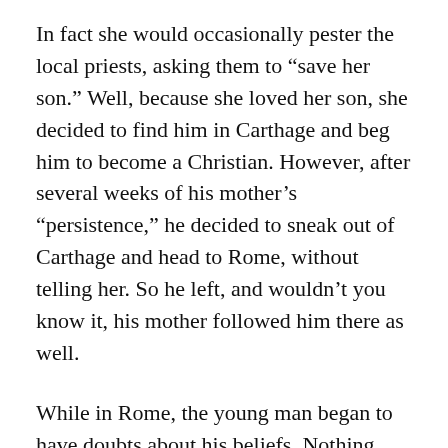In fact she would occasionally pester the local priests, asking them to “save her son.” Well, because she loved her son, she decided to find him in Carthage and beg him to become a Christian. However, after several weeks of his mother’s “persistence,” he decided to sneak out of Carthage and head to Rome, without telling her. So he left, and wouldn’t you know it, his mother followed him there as well.
While in Rome, the young man began to have doubts about his beliefs. Nothing seemed to satisfy the restlessness of his soul. In an effort to ease his restless conscience, he visited a church and listened to a preacher there. He never went all the way in the church, but stood